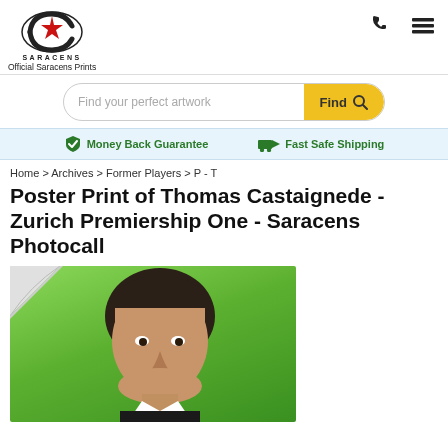Official Saracens Prints
Find your perfect artwork
Money Back Guarantee  Fast Safe Shipping
Home > Archives > Former Players > P - T
Poster Print of Thomas Castaignede - Zurich Premiership One - Saracens Photocall
[Figure (photo): Photo of Thomas Castaignede, a rugby player, headshot against green background, displayed as a poster print with curled corner effect]